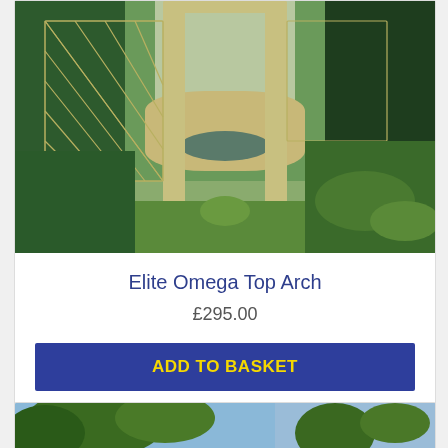[Figure (photo): A wooden garden arch with lattice panels framing a view of a lush garden with decking, a pond, hedges, and tropical-looking plants]
Elite Omega Top Arch
£295.00
ADD TO BASKET
[Figure (photo): Partial view of another garden product card showing trees and sky]